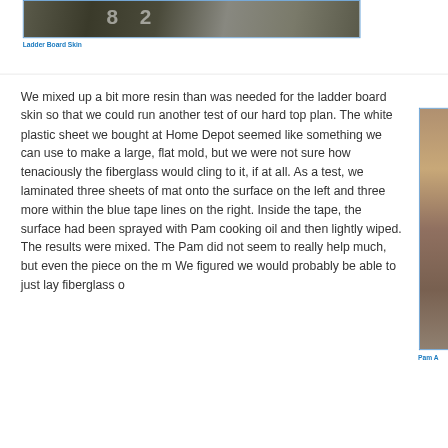[Figure (photo): Photo of ladder board skin pieces lying on the ground, showing numbered boards]
Ladder Board Skin
We mixed up a bit more resin than was needed for the ladder board skin so that we could run another test of our hard top plan. The white plastic sheet we bought at Home Depot seemed like something we can use to make a large, flat mold, but we were not sure how tenaciously the fiberglass would cling to it, if at all. As a test, we laminated three sheets of mat onto the surface on the left and three more within the blue tape lines on the right. Inside the tape, the surface had been sprayed with Pam cooking oil and then lightly wiped. The results were mixed. The Pam did not seem to really help much, but even the piece on the We figured we would probably be able to just lay fiberglass o
[Figure (photo): Partial photo on right side, showing what appears to be a construction or boat building scene. Caption reads 'Pam A']
Pam A